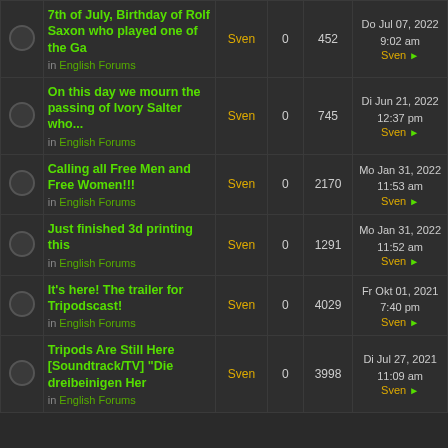|  | Topic | Author | Replies | Views | Last Post |
| --- | --- | --- | --- | --- | --- |
|  | 7th of July, Birthday of Rolf Saxon who played one of the Ga
in English Forums | Sven | 0 | 452 | Do Jul 07, 2022 9:02 am Sven ▶ |
|  | On this day we mourn the passing of Ivory Salter who...
in English Forums | Sven | 0 | 745 | Di Jun 21, 2022 12:37 pm Sven ▶ |
|  | Calling all Free Men and Free Women!!!
in English Forums | Sven | 0 | 2170 | Mo Jan 31, 2022 11:53 am Sven ▶ |
|  | Just finished 3d printing this
in English Forums | Sven | 0 | 1291 | Mo Jan 31, 2022 11:52 am Sven ▶ |
|  | It's here! The trailer for Tripodscast!
in English Forums | Sven | 0 | 4029 | Fr Okt 01, 2021 7:40 pm Sven ▶ |
|  | Tripods Are Still Here [Soundtrack/TV] "Die dreibeinigen Her
in English Forums | Sven | 0 | 3998 | Di Jul 27, 2021 11:09 am Sven ▶ |